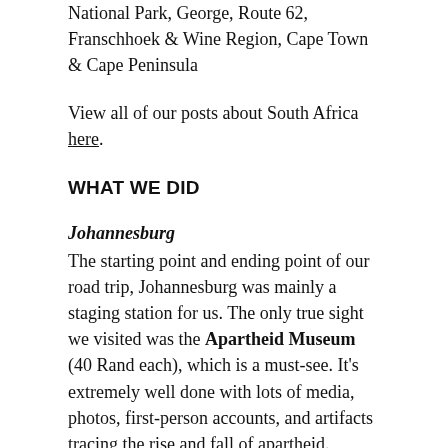National Park, George, Route 62, Franschhoek & Wine Region, Cape Town & Cape Peninsula
View all of our posts about South Africa here.
WHAT WE DID
Johannesburg
The starting point and ending point of our road trip, Johannesburg was mainly a staging station for us. The only true sight we visited was the Apartheid Museum (40 Rand each), which is a must-see. It's extremely well done with lots of media, photos, first-person accounts, and artifacts tracing the rise and fall of apartheid.
Blyde River Canyon
The third largest canyon in the world (after the Grand Canyon and Fish River Canyon), Blyde River Canyon (55 Rand for 2 people and a car) is very scenic. We snaked up